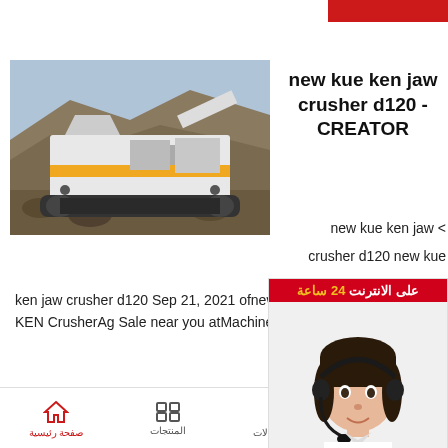[Figure (photo): Jaw crusher machine at a quarry/mining site with yellow and white colors, tracked mobile crusher on rocky terrain]
new kue ken jaw crusher d120 - CREATOR
new kue ken jaw <
crusher d120 new kue
ken jaw crusher d120 Sep 21, 2021 ofnewand usedKUE-KEN CrusherAg Sale near you atMachineryTrader. Mode
[Figure (photo): Live chat popup with woman wearing headset, red header saying 'على الانترنت 24 ساعة', and red button at bottom saying 'انقر للدردشة']
صفحة رئيسية | المنتجات | مركز الحالات | اتصل بنا